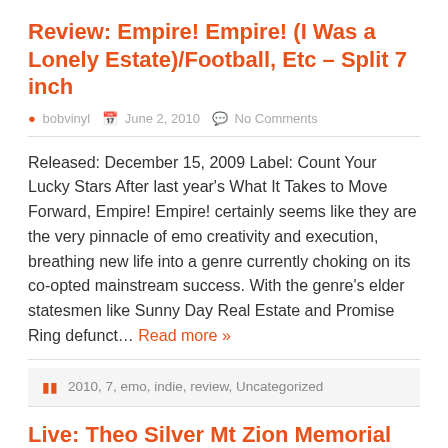Review: Empire! Empire! (I Was a Lonely Estate)/Football, Etc – Split 7 inch
bobvinyl   June 2, 2010   No Comments
Released: December 15, 2009 Label: Count Your Lucky Stars After last year's What It Takes to Move Forward, Empire! Empire! certainly seems like they are the very pinnacle of emo creativity and execution, breathing new life into a genre currently choking on its co-opted mainstream success. With the genre's elder statesmen like Sunny Day Real Estate and Promise Ring defunct... Read more »
2010, 7, emo, indie, review, Uncategorized
Live: Theo Silver Mt Zion Memorial